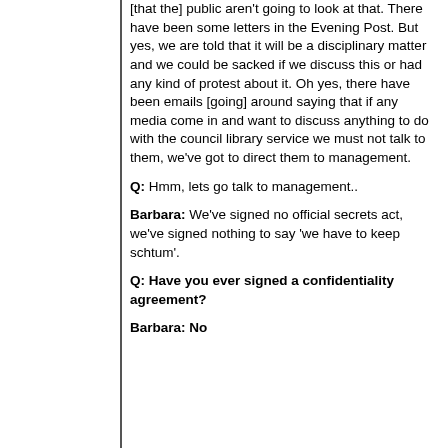[that the] public aren't going to look at that. There have been some letters in the Evening Post. But yes, we are told that it will be a disciplinary matter and we could be sacked if we discuss this or had any kind of protest about it. Oh yes, there have been emails [going] around saying that if any media come in and want to discuss anything to do with the council library service we must not talk to them, we've got to direct them to management.
Q: Hmm, lets go talk to management..
Barbara: We've signed no official secrets act, we've signed nothing to say 'we have to keep schtum'.
Q: Have you ever signed a confidentiality agreement?
Barbara: No